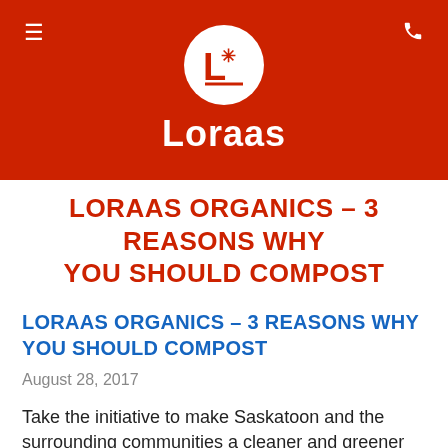[Figure (logo): Loraas company logo: white circle with stylized L and asterisk on red background, with brand name 'Loraas' in white bold text below]
LORAAS ORGANICS – 3 REASONS WHY YOU SHOULD COMPOST
LORAAS ORGANICS – 3 REASONS WHY YOU SHOULD COMPOST
August 28, 2017
Take the initiative to make Saskatoon and the surrounding communities a cleaner and greener place to